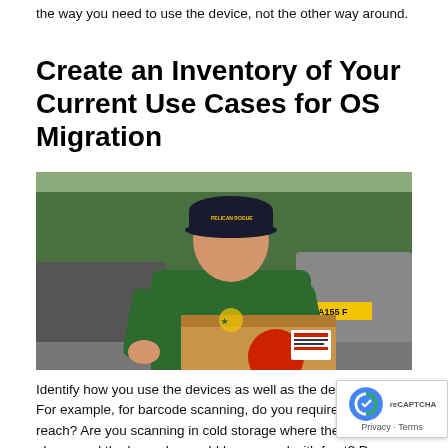the way you need to use the device, not the other way around.
Create an Inventory of Your Current Use Cases for OS Migration
[Figure (photo): A delivery worker in a green polo shirt and dark cap scanning or handling a cardboard package with a red label sticker, standing outdoors near parked vehicles.]
Identify how you use the devices as well as the desired resu... For example, for barcode scanning, do you require an exten... reach? Are you scanning in cold storage where the workers... gloves and the barcodes could be covered with frost? Do you do...